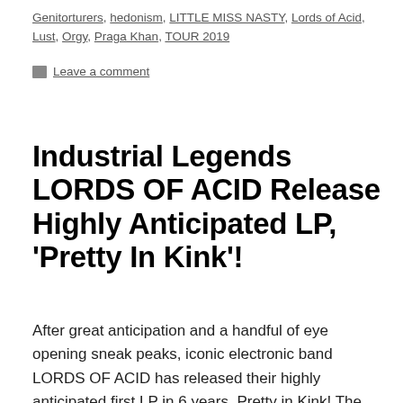Genitorturers, hedonism, LITTLE MISS NASTY, Lords of Acid, Lust, Orgy, Praga Khan, TOUR 2019
Leave a comment
Industrial Legends LORDS OF ACID Release Highly Anticipated LP, ‘Pretty In Kink’!
After great anticipation and a handful of eye opening sneak peaks, iconic electronic band LORDS OF ACID has released their highly anticipated first LP in 6 years, Pretty in Kink! The fan driven and committed album, out now via